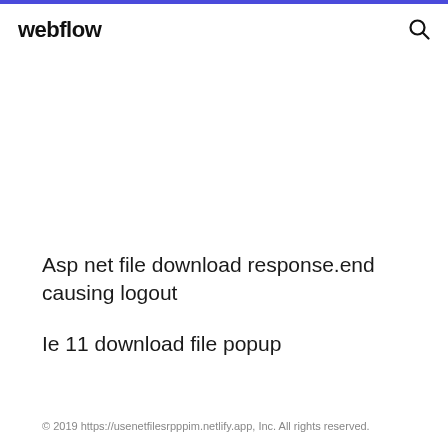webflow
Asp net file download response.end causing logout
Ie 11 download file popup
© 2019 https://usenetfilesrpppim.netlify.app, Inc. All rights reserved.